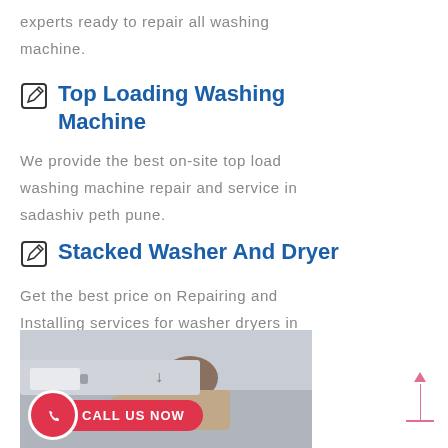experts ready to repair all washing machine.
Top Loading Washing Machine
We provide the best on-site top load washing machine repair and service in sadashiv peth pune.
Stacked Washer And Dryer
Get the best price on Repairing and Installing services for washer dryers in your areas.just a one call 8004561000
[Figure (photo): Person repairing a washing machine, viewed from above, with a Call Us Now button overlay]